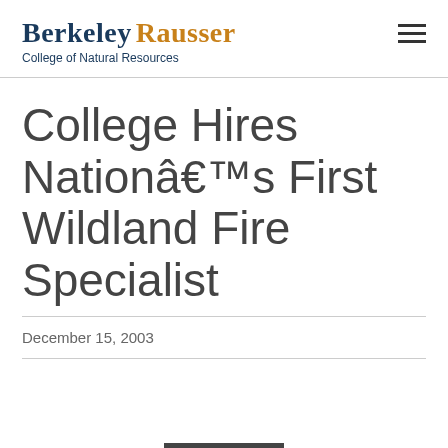Berkeley Rausser College of Natural Resources
College Hires Nationâ€™s First Wildland Fire Specialist
December 15, 2003